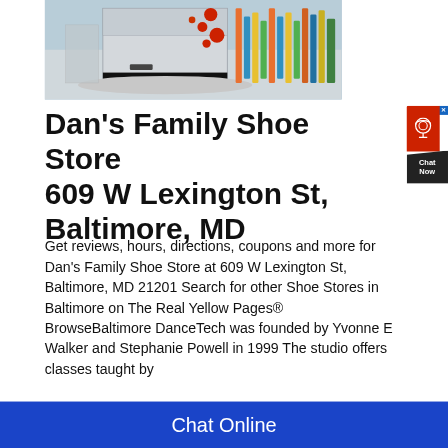[Figure (photo): Industrial machine, appears to be a large white/grey machine with red dots/buttons on a circular platform base, photographed in an indoor setting.]
Dan's Family Shoe Store 609 W Lexington St, Baltimore, MD
[Figure (other): Chat Now widget — red circular icon with headset symbol, dark chevron-shaped label reading Chat Now]
Get reviews, hours, directions, coupons and more for Dan's Family Shoe Store at 609 W Lexington St, Baltimore, MD 21201 Search for other Shoe Stores in Baltimore on The Real Yellow Pages® BrowseBaltimore DanceTech was founded by Yvonne E Walker and Stephanie Powell in 1999 The studio offers classes taught by
Chat Online